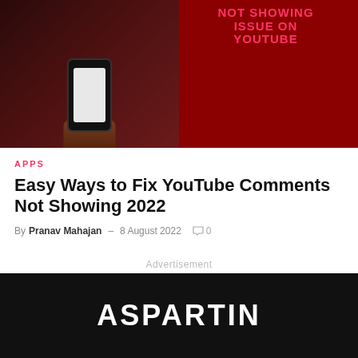[Figure (photo): Hero image showing a hand holding a smartphone with a blank white screen against a dark red background, with text overlay reading 'NOT SHOWING ISSUE ON YOUTUBE' in pink/red bold letters]
APPS
Easy Ways to Fix YouTube Comments Not Showing 2022
By Pranav Mahajan – 8 August 2022  0
Advertisement
ASPARTIN